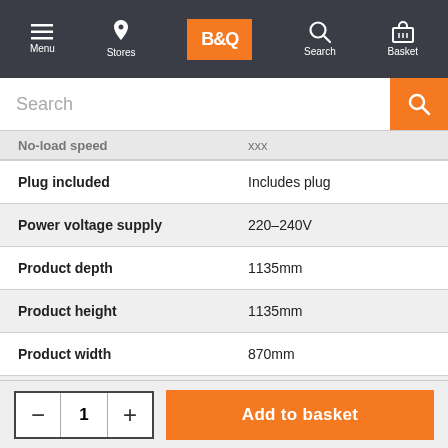B&Q navigation bar: Menu, Stores, B&Q logo, Search, Basket
Search
| Attribute | Value |
| --- | --- |
| Plug included | Includes plug |
| Power voltage supply | 220-240V |
| Product depth | 1135mm |
| Product height | 1135mm |
| Product width | 870mm |
| Soft start | Hard start |
| Speed control | Single-speed |
Add to basket